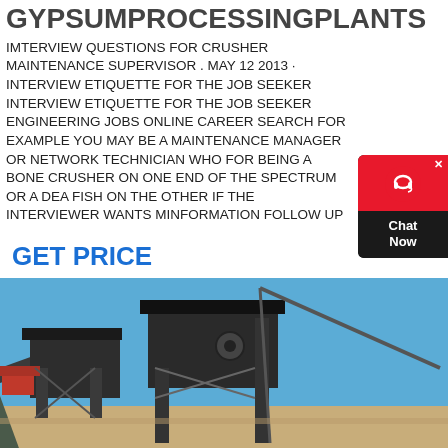GYPSUMPROCESSINGPLANTS
IMTERVIEW QUESTIONS FOR CRUSHER MAINTENANCE SUPERVISOR . MAY 12 2013 · INTERVIEW ETIQUETTE FOR THE JOB SEEKER INTERVIEW ETIQUETTE FOR THE JOB SEEKER ENGINEERING JOBS ONLINE CAREER SEARCH FOR EXAMPLE YOU MAY BE A MAINTENANCE MANAGER OR NETWORK TECHNICIAN WHO FOR BEING A BONE CRUSHER ON ONE END OF THE SPECTRUM OR A DEAD FISH ON THE OTHER IF THE INTERVIEWER WANTS MORE INFORMATION FOLLOW UP
GET PRICE
[Figure (photo): Industrial crusher/processing plant equipment with metal frame structures, conveyors, and construction machinery on a construction site under a blue sky]